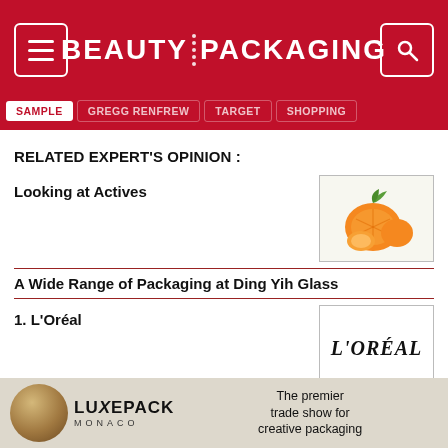BEAUTY PACKAGING
SAMPLE
GREGG RENFREW
TARGET
SHOPPING
RELATED EXPERT'S OPINION :
Looking at Actives
[Figure (photo): Photo of oranges and orange slices]
A Wide Range of Packaging at Ding Yih Glass
1. L'Oréal
[Figure (logo): L'ORÉAL logo in black serif text]
Beautycounter's Gregg Renfrew
[Figure (photo): Partial photo, partially obscured by ad banner]
[Figure (logo): Luxe Pack Monaco advertisement banner — The premier trade show for creative packaging]